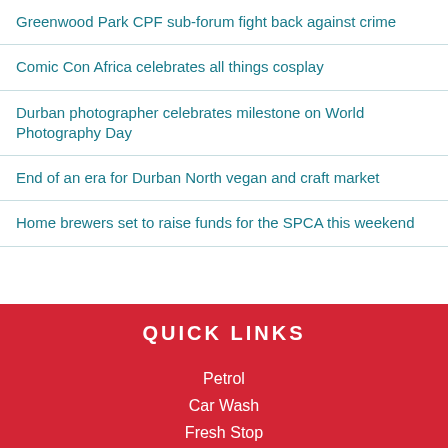Greenwood Park CPF sub-forum fight back against crime
Comic Con Africa celebrates all things cosplay
Durban photographer celebrates milestone on World Photography Day
End of an era for Durban North vegan and craft market
Home brewers set to raise funds for the SPCA this weekend
QUICK LINKS
Petrol
Car Wash
Fresh Stop